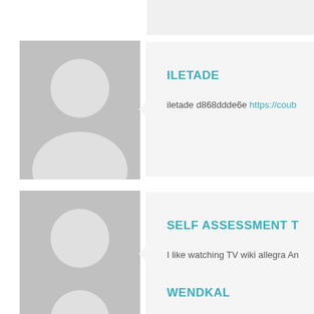[Figure (illustration): Default user avatar placeholder - gray silhouette of a person on gray background, first card]
ILETADE
iletade d868ddde6e https://coub...
[Figure (illustration): Default user avatar placeholder - gray silhouette of a person on gray background, second card]
SELF ASSESSMENT T
I like watching TV wiki allegra An...
[Figure (illustration): Default user avatar placeholder - gray silhouette of a person on gray background, third card (partial)]
WENDKAL